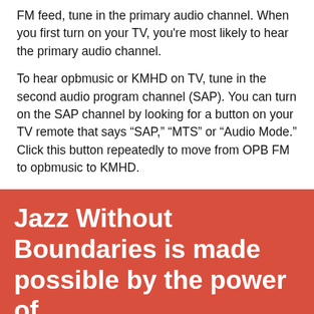FM feed, tune in the primary audio channel. When you first turn on your TV, you're most likely to hear the primary audio channel.
To hear opbmusic or KMHD on TV, tune in the second audio program channel (SAP). You can turn on the SAP channel by looking for a button on your TV remote that says “SAP,” “MTS” or “Audio Mode.” Click this button repeatedly to move from OPB FM to opbmusic to KMHD.
Jazz Without Boundaries is made possible by the power of
[Figure (screenshot): Streaming now player widget showing Stanley Turrentine / Sister Sanctified Cherry with a yellow play button area and dark background]
STREAMING NOW
Stanley Turrentine / Sister Sanctified
Cherry